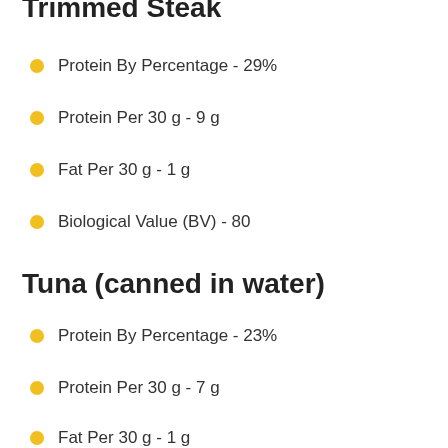Trimmed Steak
Protein By Percentage - 29%
Protein Per 30 g - 9 g
Fat Per 30 g - 1 g
Biological Value (BV) - 80
Tuna (canned in water)
Protein By Percentage - 23%
Protein Per 30 g - 7 g
Fat Per 30 g - 1 g